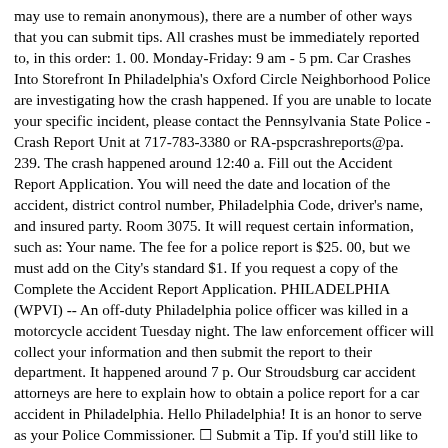may use to remain anonymous), there are a number of other ways that you can submit tips. All crashes must be immediately reported to, in this order: 1. 00. Monday-Friday: 9 am - 5 pm. Car Crashes Into Storefront In Philadelphia's Oxford Circle Neighborhood Police are investigating how the crash happened. If you are unable to locate your specific incident, please contact the Pennsylvania State Police - Crash Report Unit at 717-783-3380 or RA-pspcrashreports@pa. 239. The crash happened around 12:40 a. Fill out the Accident Report Application. You will need the date and location of the accident, district control number, Philadelphia Code, driver's name, and insured party. Room 3075. It will request certain information, such as: Your name. The fee for a police report is $25. 00, but we must add on the City's standard $1. If you request a copy of the Complete the Accident Report Application. PHILADELPHIA (WPVI) -- An off-duty Philadelphia police officer was killed in a motorcycle accident Tuesday night. The law enforcement officer will collect your information and then submit the report to their department. It happened around 7 p. Our Stroudsburg car accident attorneys are here to explain how to obtain a police report for a car accident in Philadelphia. Hello Philadelphia! It is an honor to serve as your Police Commissioner. ☐ Submit a Tip. If you'd still like to visit us in person (currently by appointment only) to get your crash report or mail your application you are free to do so! PSIR - Web Portal. Traffic accident report . . Submit a Tip. 00 to obtain a copy of the report, and Since 2010, Philadelphia law no longer requires police to respond to the scene